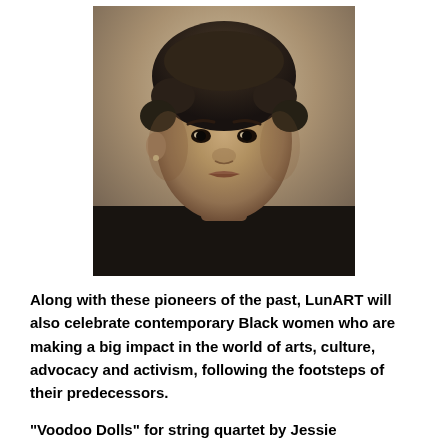[Figure (photo): Black and white / sepia portrait photograph of a Black woman with curly hair, looking directly at the camera, wearing dark clothing. Historical portrait style.]
Along with these pioneers of the past, LunART will also celebrate contemporary Black women who are making a big impact in the world of arts, culture, advocacy and activism, following the footsteps of their predecessors.
“Voodoo Dolls” for string quartet by Jessie Montgomery (below in a photo by Jiyang Chen) is